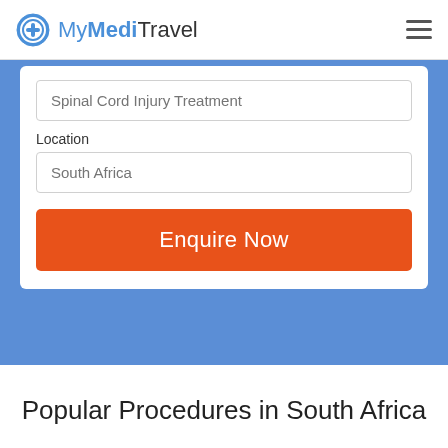MyMediTravel
Spinal Cord Injury Treatment
Location
South Africa
Enquire Now
Popular Procedures in South Africa